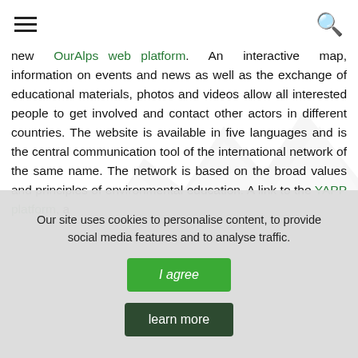≡  🔍
new OurAlps web platform. An interactive map, information on events and news as well as the exchange of educational materials, photos and videos allow all interested people to get involved and contact other actors in different countries. The website is available in five languages and is the central communication tool of the international network of the same name. The network is based on the broad values and principles of environmental education. A link to the YAPP platform, a
Our site uses cookies to personalise content, to provide social media features and to analyse traffic.
I agree
learn more